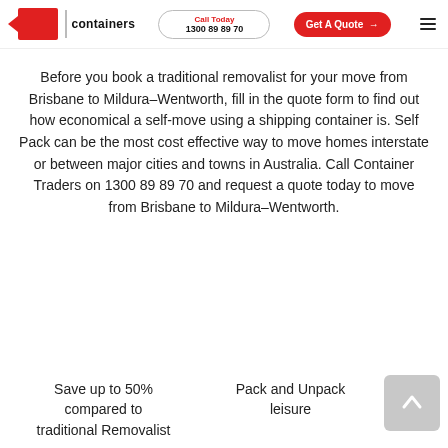containers | Call Today 1300 89 89 70 | Get A Quote →
Before you book a traditional removalist for your move from Brisbane to Mildura–Wentworth, fill in the quote form to find out how economical a self-move using a shipping container is. Self Pack can be the most cost effective way to move homes interstate or between major cities and towns in Australia. Call Container Traders on 1300 89 89 70 and request a quote today to move from Brisbane to Mildura–Wentworth.
Save up to 50% compared to traditional Removalist
Pack and Unpack leisure